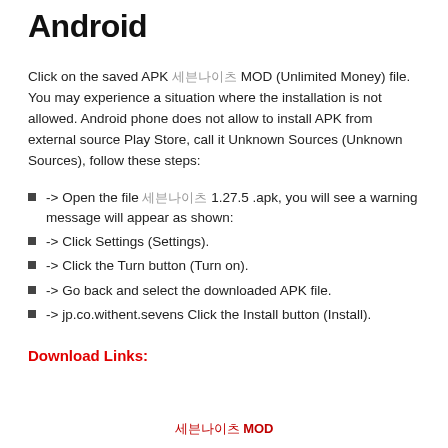Android
Click on the saved APK 세븐나이츠 MOD (Unlimited Money) file. You may experience a situation where the installation is not allowed. Android phone does not allow to install APK from external source Play Store, call it Unknown Sources (Unknown Sources), follow these steps:
-> Open the file 세븐나이츠 1.27.5 .apk, you will see a warning message will appear as shown:
-> Click Settings (Settings).
-> Click the Turn button (Turn on).
-> Go back and select the downloaded APK file.
-> jp.co.withent.sevens Click the Install button (Install).
Download Links:
세븐나이츠 MOD